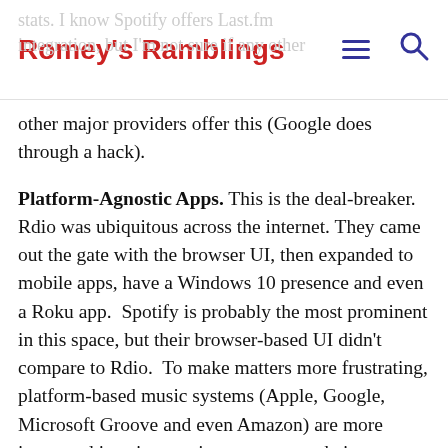Romey's Ramblings
stats.  I know Spotify offers Last.fm integration, but I'm not sure if any other other major providers offer this (Google does through a hack).
Platform-Agnostic Apps. This is the deal-breaker. Rdio was ubiquitous across the internet. They came out the gate with the browser UI, then expanded to mobile apps, have a Windows 10 presence and even a Roku app.  Spotify is probably the most prominent in this space, but their browser-based UI didn't compare to Rdio.  To make matters more frustrating, platform-based music systems (Apple, Google, Microsoft Groove and even Amazon) are more interested in using music to propagate their own platforms.
Playlist Lock-In. This is going to be the